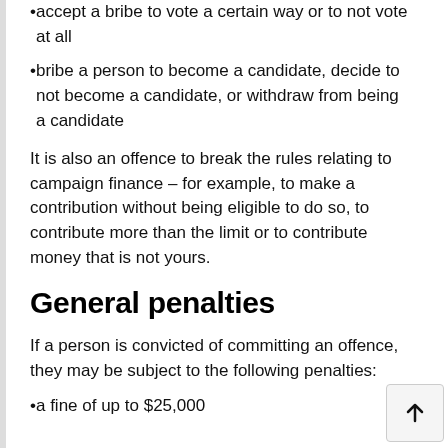accept a bribe to vote a certain way or to not vote at all
bribe a person to become a candidate, decide to not become a candidate, or withdraw from being a candidate
It is also an offence to break the rules relating to campaign finance – for example, to make a contribution without being eligible to do so, to contribute more than the limit or to contribute money that is not yours.
General penalties
If a person is convicted of committing an offence, they may be subject to the following penalties:
a fine of up to $25,000